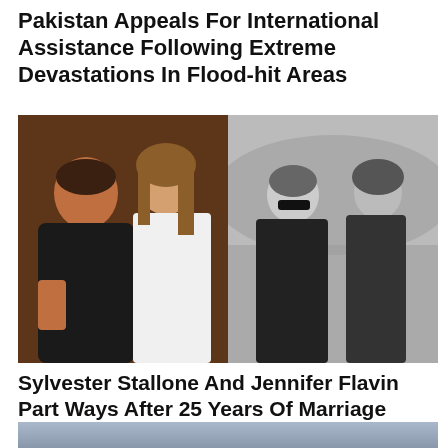Pakistan Appeals For International Assistance Following Extreme Devastations In Flood-hit Areas
[Figure (photo): Two side-by-side photos: left is a color photo of a man in a black shirt and a woman in a white dress posing together; right is a black-and-white photo of two people standing outdoors.]
Sylvester Stallone And Jennifer Flavin Part Ways After 25 Years Of Marriage
[Figure (photo): Partial view of a blue-grey sky or outdoor scene, bottom of page.]